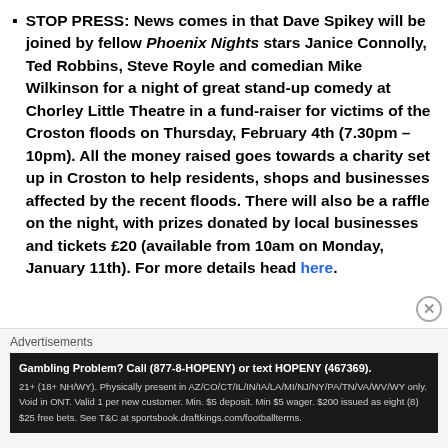STOP PRESS: News comes in that Dave Spikey will be joined by fellow Phoenix Nights stars Janice Connolly, Ted Robbins, Steve Royle and comedian Mike Wilkinson for a night of great stand-up comedy at Chorley Little Theatre in a fund-raiser for victims of the Croston floods on Thursday, February 4th (7.30pm – 10pm). All the money raised goes towards a charity set up in Croston to help residents, shops and businesses affected by the recent floods. There will also be a raffle on the night, with prizes donated by local businesses and tickets £20 (available from 10am on Monday, January 11th). For more details head here.
Advertisements
Gambling Problem? Call (877-8-HOPENY) or text HOPENY (467369). 21+ (18+ NH/WY). Physically present in AZ/CO/CT/IL/IN/IA/LA/MI/NJ/NY/PA/TN/VA/WV/WY only. Void in ONT. Valid 1 per new customer. Min. $5 deposit. Min $5 wager. $200 issued as eight (8) $25 free bets. See T&C at sportsbook.draftkings.com/footballterms.